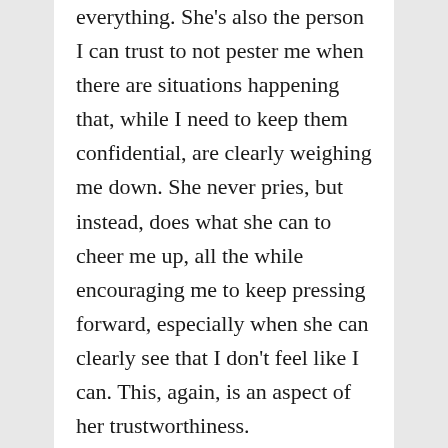everything. She's also the person I can trust to not pester me when there are situations happening that, while I need to keep them confidential, are clearly weighing me down. She never pries, but instead, does what she can to cheer me up, all the while encouraging me to keep pressing forward, especially when she can clearly see that I don't feel like I can. This, again, is an aspect of her trustworthiness.
I have a trustworthy Bishop, too. He's more than an ecclesiastical